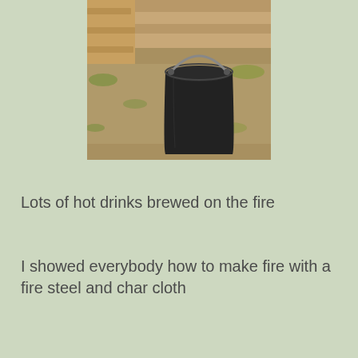[Figure (photo): Outdoor photo showing a black bucket/pail with a handle sitting on dirt ground, with grass patches and wooden steps or boards visible in the background.]
Lots of hot drinks brewed on the fire
I showed everybody how to make fire with a fire steel and char cloth